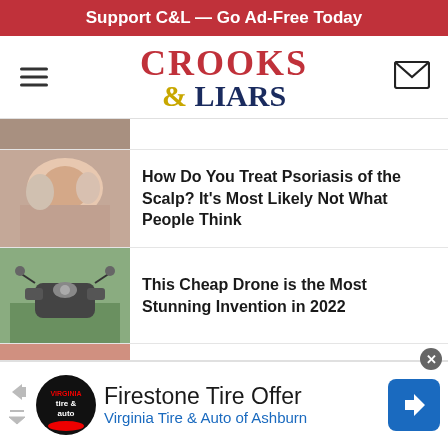Support C&L — Go Ad-Free Today
[Figure (logo): Crooks & Liars website logo with hamburger menu and mail icon]
[Figure (photo): Person scratching scalp with hands]
How Do You Treat Psoriasis of the Scalp? It's Most Likely Not What People Think
[Figure (photo): Small drone held in hand outdoors]
This Cheap Drone is the Most Stunning Invention in 2022
[Figure (photo): Blue pills resting in a person's palm]
Urologists Stunned: Forget the Blue Pill, This "Fixes" Your ED
[Figure (illustration): Cartoon illustration of a woman in yellow shirt]
Signs of Breast Cancer in Women
[Figure (infographic): Firestone Tire Offer advertisement - Virginia Tire & Auto of Ashburn]